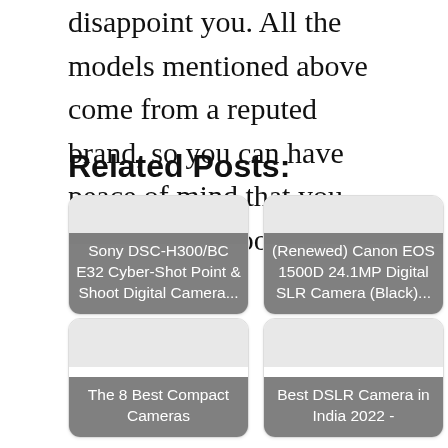disappoint you. All the models mentioned above come from a reputed brand, so you can have peace of mind that you are getting a good deal.
Related Posts:
[Figure (other): Card thumbnail for Sony DSC-H300/BCE32 Cyber-Shot Point & Shoot Digital Camera...]
Sony DSC-H300/BCE32 Cyber-Shot Point & Shoot Digital Camera...
[Figure (other): Card thumbnail for (Renewed) Canon EOS 1500D 24.1MP Digital SLR Camera (Black)...]
(Renewed) Canon EOS 1500D 24.1MP Digital SLR Camera (Black)...
[Figure (other): Card thumbnail for The 8 Best Compact Cameras]
The 8 Best Compact Cameras
[Figure (other): Card thumbnail for Best DSLR Camera in India 2022 -]
Best DSLR Camera in India 2022 -